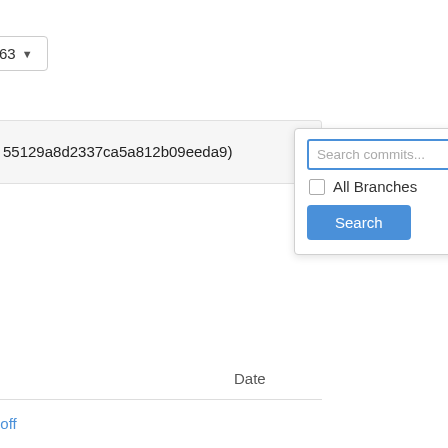[Figure (screenshot): Dropdown button showing '63' with a downward arrow, top-left of the page]
55129a8d2337ca5a812b09eeda9)
[Figure (screenshot): Search commits popup with text input, All Branches checkbox, and Search button]
Date
noff